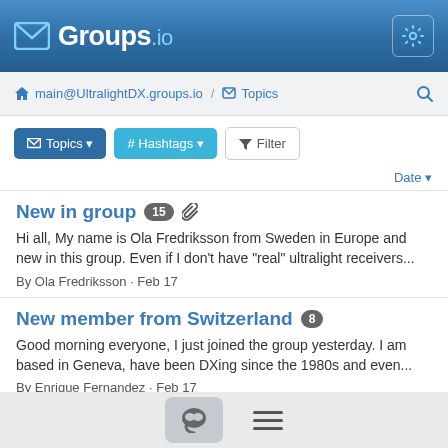Groups.io
main@UltralightDX.groups.io / Topics
Topics  # Hashtags  Filter
Date
New in group 15
Hi all, My name is Ola Fredriksson from Sweden in Europe and new in this group. Even if I don't have “real” ultralight receivers...
By Ola Fredriksson · Feb 17
New member from Switzerland 8
Good morning everyone, I just joined the group yesterday. I am based in Geneva, have been DXing since the 1980s and even...
By Enrique Fernandez · Feb 17